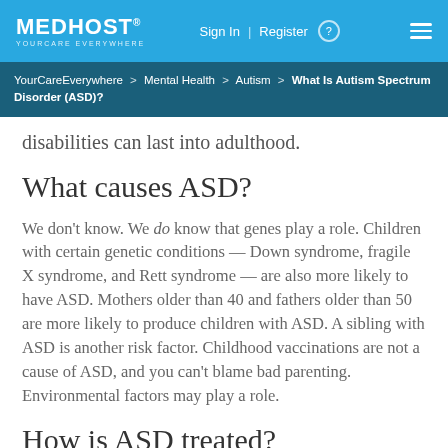MEDHOST YOURCARE EVERYWHERE | Sign In | Register | ☰
YourCareEverywhere > Mental Health > Autism > What Is Autism Spectrum Disorder (ASD)?
disabilities can last into adulthood.
What causes ASD?
We don't know. We do know that genes play a role. Children with certain genetic conditions — Down syndrome, fragile X syndrome, and Rett syndrome — are also more likely to have ASD. Mothers older than 40 and fathers older than 50 are more likely to produce children with ASD. A sibling with ASD is another risk factor. Childhood vaccinations are not a cause of ASD, and you can't blame bad parenting. Environmental factors may play a role.
How is ASD treated?